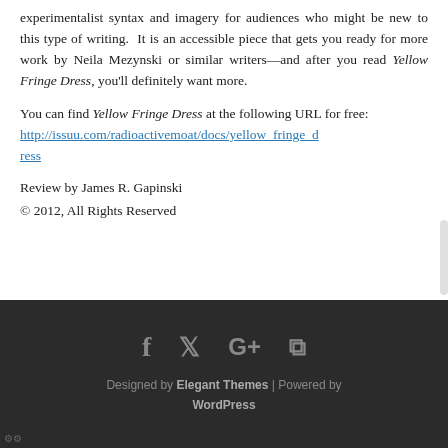experimentalist syntax and imagery for audiences who might be new to this type of writing. It is an accessible piece that gets you ready for more work by Neila Mezynski or similar writers—and after you read Yellow Fringe Dress, you'll definitely want more.
You can find Yellow Fringe Dress at the following URL for free:
http://issuu.com/radioactivemoat/docs/yellow_fringe_dress
Review by James R. Gapinski
© 2012, All Rights Reserved
Designed by Elegant Themes | Powered by WordPress